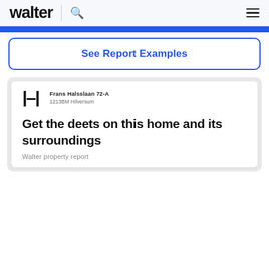walter
[Figure (screenshot): Walter website screenshot showing navigation bar with logo, search icon, and hamburger menu; a blue progress/accent bar; a 'See Report Examples' button; and a preview card showing Walter property report for Frans Halsslaan 72-A, 1213BM Hilversum with title 'Get the deets on this home and its surroundings' and subtitle 'Walter property report']
See Report Examples
Frans Halsslaan 72-A
1213BM Hilversum
Get the deets on this home and its surroundings
Walter property report